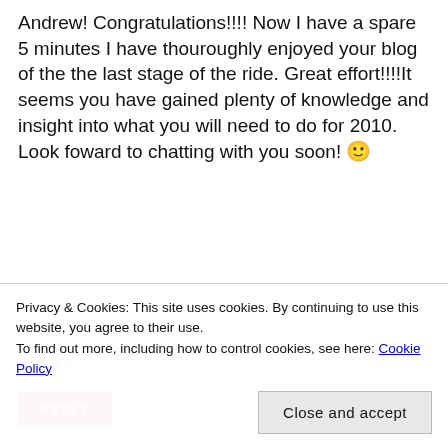Andrew! Congratulations!!!! Now I have a spare 5 minutes I have thouroughly enjoyed your blog of the the last stage of the ride. Great effort!!!!It seems you have gained plenty of knowledge and insight into what you will need to do for 2010. Look foward to chatting with you soon! 🙂
★ Like
REPLY
What do you think?
Privacy & Cookies: This site uses cookies. By continuing to use this website, you agree to their use. To find out more, including how to control cookies, see here: Cookie Policy
Close and accept